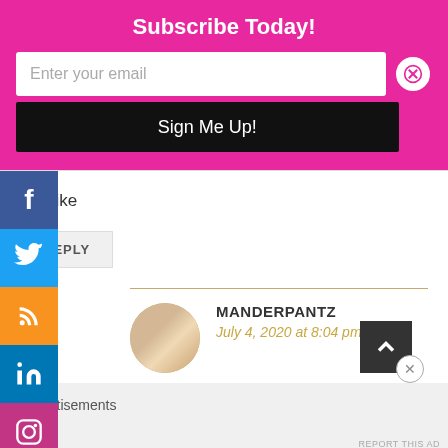Subscribe Today!
Enter your email
Sign Me Up!
Like
REPLY
MANDERPANTZ
July 4, 2020 at 8:04 pm
Advertisements